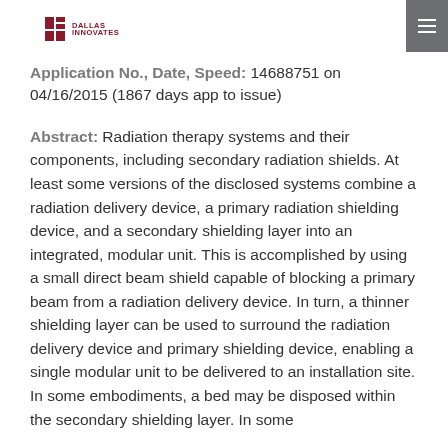Dallas Innovates
Application No., Date, Speed: 14688751 on 04/16/2015 (1867 days app to issue)
Abstract: Radiation therapy systems and their components, including secondary radiation shields. At least some versions of the disclosed systems combine a radiation delivery device, a primary radiation shielding device, and a secondary shielding layer into an integrated, modular unit. This is accomplished by using a small direct beam shield capable of blocking a primary beam from a radiation delivery device. In turn, a thinner shielding layer can be used to surround the radiation delivery device and primary shielding device, enabling a single modular unit to be delivered to an installation site. In some embodiments, a bed may be disposed within the secondary shielding layer. In some